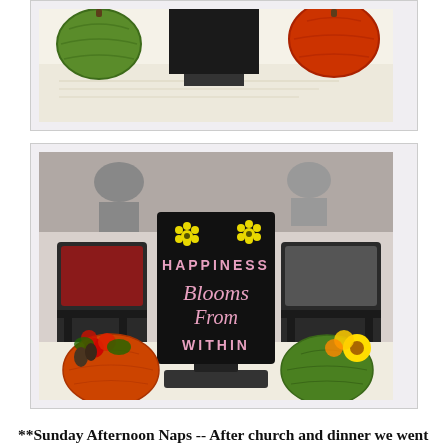[Figure (photo): Top photo (partially visible): decorative pumpkins on a white tablecloth with a black sign holder]
[Figure (photo): Photo of a black decorative sign reading 'HAPPINESS Blooms From WITHIN' with yellow flower accents, flanked by orange and green pumpkins with flowers, set on a table with folding chairs in background]
**Sunday Afternoon Naps -- After church and dinner we went home and took an afternoon nap.  It was so wonderful and quiet in the house.  I think Sunday naps are my favorite.
**Monday Holidays -- I love getting a Monday off, which gives me a 3 day weekend.  Unfortunately, hubby had an early morning